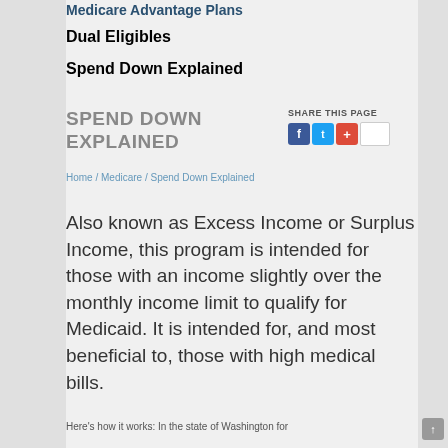Medicare Advantage Plans
Dual Eligibles
Spend Down Explained
SPEND DOWN EXPLAINED
SHARE THIS PAGE
Home / Medicare / Spend Down Explained
Also known as Excess Income or Surplus Income, this program is intended for those with an income slightly over the monthly income limit to qualify for Medicaid. It is intended for, and most beneficial to, those with high medical bills.
Here's how it works: In the state of Washington for